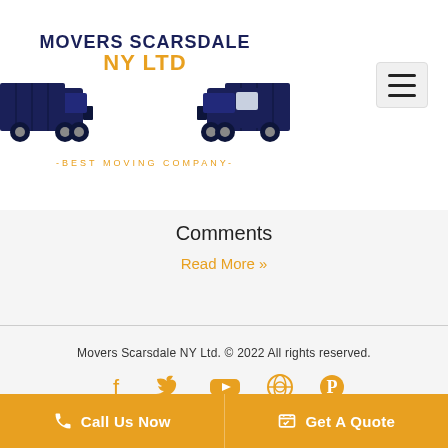[Figure (logo): Movers Scarsdale NY Ltd logo with two semi-trucks facing each other, text 'MOVERS SCARSDALE NY LTD' in dark navy and orange, subtitle '-BEST MOVING COMPANY-' in orange]
Comments
Read More »
Movers Scarsdale NY Ltd. © 2022 All rights reserved.
[Figure (infographic): Social media icons: Facebook, Twitter, YouTube, WordPress, Pinterest — all in orange]
Call Us Now
Get A Quote